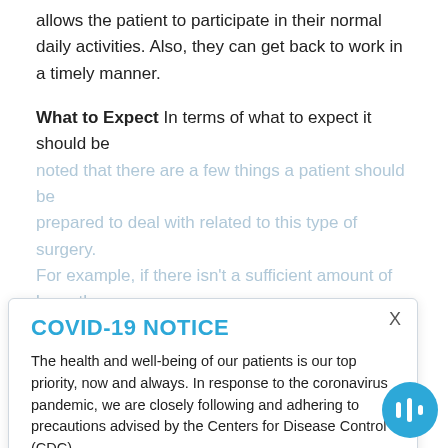allows the patient to participate in their normal daily activities. Also, they can get back to work in a timely manner.
What to Expect In terms of what to expect it should be noted that there are a few things a patient should be prepared to deal with related to this type of surgery. For example, if there isn't a sufficient amount of bone then bone grafting may be required. This process includes a placement of bone material from outside of the body and is not the same as...
COVID-19 NOTICE
The health and well-being of our patients is our top priority, now and always. In response to the coronavirus pandemic, we are closely following and adhering to precautions advised by the Centers for Disease Control (CDC).
Learn More
After Surgery After the dental implant has been placed...